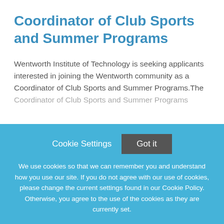Coordinator of Club Sports and Summer Programs
Wentworth Institute of Technology is seeking applicants interested in joining the Wentworth community as a Coordinator of Club Sports and Summer Programs.The Coordinator of Club Sports and Summer Programs
This job listing is no longer active.
Cookie Settings
Got it
We use cookies so that we can remember you and understand how you use our site. If you do not agree with our use of cookies, please change the current settings found in our Cookie Policy. Otherwise, you agree to the use of the cookies as they are currently set.